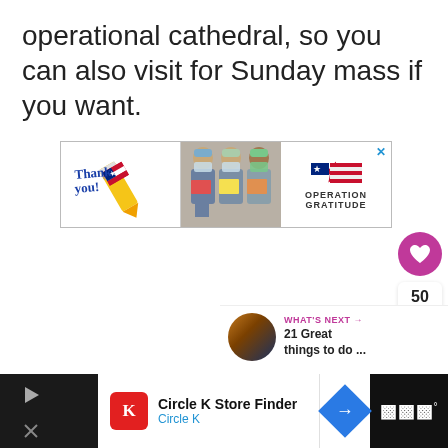operational cathedral, so you can also visit for Sunday mass if you want.
[Figure (photo): Advertisement banner for Operation Gratitude showing 'Thank you!' text with a pencil graphic and an American flag star design on the left, three people in medical scrubs and masks holding cards in the middle, and 'OPERATION GRATITUDE' logo with a star on the right. A close (X) button is visible in the top-right corner.]
[Figure (infographic): Side panel UI with a pink heart/like button (circle), a count of 50, and a share button (circle with share icon).]
[Figure (infographic): What's Next panel showing a thumbnail image of a sunset and text: 'WHAT'S NEXT → 21 Great things to do ...']
[Figure (infographic): Bottom advertisement bar for Circle K Store Finder showing Circle K logo, title text 'Circle K Store Finder', subtitle 'Circle K', a navigation diamond arrow icon, and a weather/radio widget on the right. Left side is a dark background with play and close icons.]